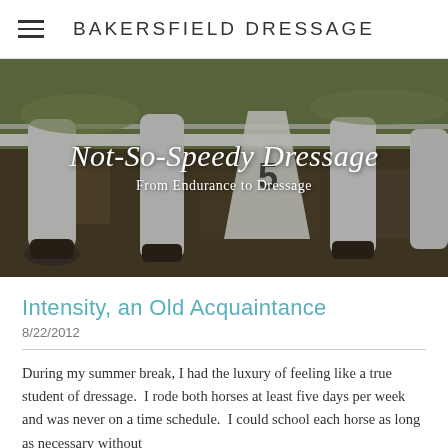BAKERSFIELD DRESSAGE
[Figure (photo): Close-up photo of horse legs walking in a dirt arena, with a white fence and green grass visible in the background. White text overlay reads 'Not-So-Speedy Dressage' in italic script and 'From Endurance to Dressage' in regular font.]
Intensity, an Old Acquaintance
8/22/2012
During my summer break, I had the luxury of feeling like a true student of dressage.  I rode both horses at least five days per week and was never on a time schedule.  I could school each horse as long as necessary without